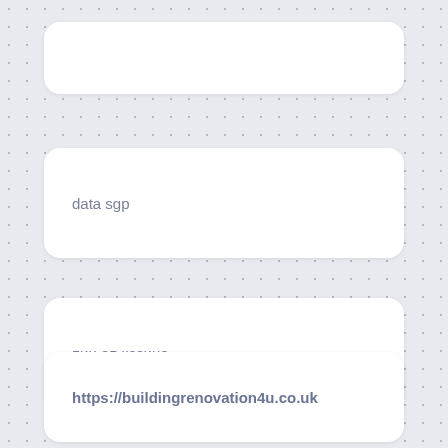data sgp
пин ап казино
https://buildingrenovation4u.co.uk